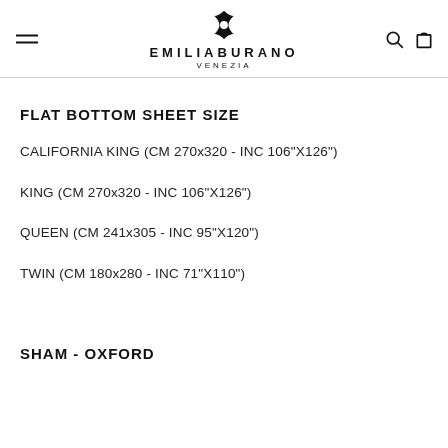EMILIA BURANO VENEZIA
FLAT BOTTOM SHEET SIZE
CALIFORNIA KING (CM 270x320 - INC 106"X126")
KING (CM 270x320 - INC 106"X126")
QUEEN (CM 241x305 - INC 95"X120")
TWIN (CM 180x280 - INC 71"X110")
SHAM - OXFORD